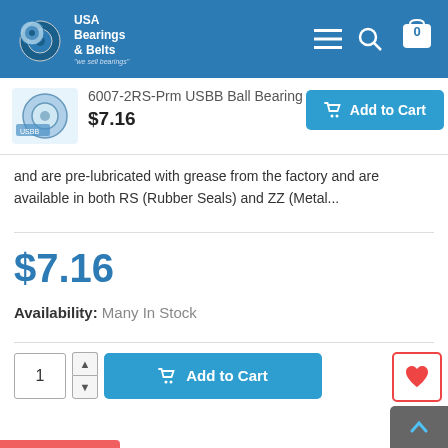USA Bearings & Belts
6007-2RS-Prm USBB Ball Bearing
$7.16
and are pre-lubricated with grease from the factory and are available in both RS (Rubber Seals) and ZZ (Metal...
$7.16
Availability: Many In Stock